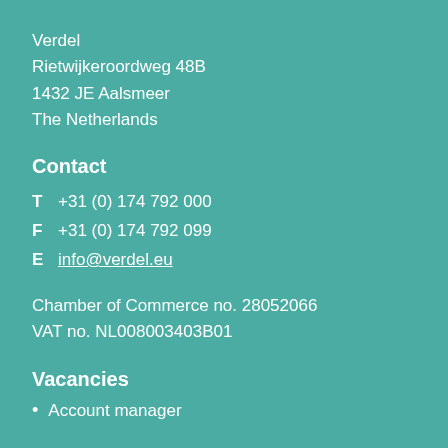Verdel
Rietwijkeroordweg 48B
1432 JE Aalsmeer
The Netherlands
Contact
T  +31 (0) 174 792 000
F  +31 (0) 174 792 099
E  info@verdel.eu
Chamber of Commerce no. 28052066
VAT no. NL008003403B01
Vacancies
Account manager